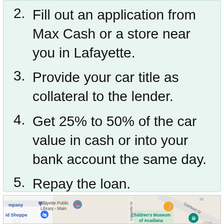2. Fill out an application from Max Cash or a store near you in Lafayette.
3. Provide your car title as collateral to the lender.
4. Get 25% to 50% of the car value in cash or into your bank account the same day.
5. Repay the loan.
[Figure (map): Google Maps view showing Lafayette Public Library - Main, Children's Museum of Acadiana, and nearby streets including Lafayette St and Garfield St.]